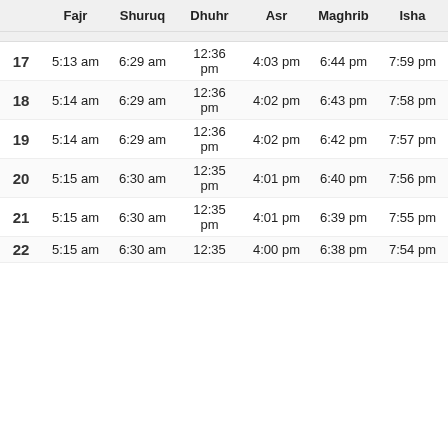|  | Fajr | Shuruq | Dhuhr | Asr | Maghrib | Isha |
| --- | --- | --- | --- | --- | --- | --- |
| 17 | 5:13 am | 6:29 am | 12:36 pm | 4:03 pm | 6:44 pm | 7:59 pm |
| 18 | 5:14 am | 6:29 am | 12:36 pm | 4:02 pm | 6:43 pm | 7:58 pm |
| 19 | 5:14 am | 6:29 am | 12:36 pm | 4:02 pm | 6:42 pm | 7:57 pm |
| 20 | 5:15 am | 6:30 am | 12:35 pm | 4:01 pm | 6:40 pm | 7:56 pm |
| 21 | 5:15 am | 6:30 am | 12:35 pm | 4:01 pm | 6:39 pm | 7:55 pm |
| 22 | 5:15 am | 6:30 am | 12:35 pm | 4:00 pm | 6:38 pm | 7:54 pm |